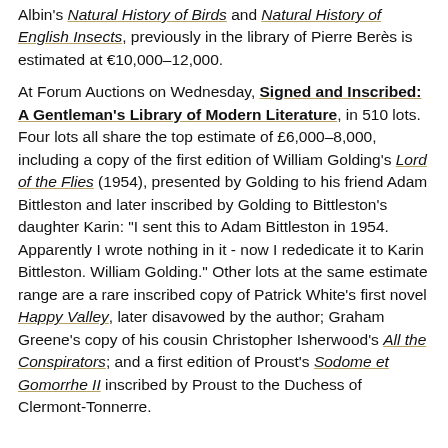Albin's Natural History of Birds and Natural History of English Insects, previously in the library of Pierre Berès is estimated at €10,000–12,000.
At Forum Auctions on Wednesday, Signed and Inscribed: A Gentleman's Library of Modern Literature, in 510 lots. Four lots all share the top estimate of £6,000–8,000, including a copy of the first edition of William Golding's Lord of the Flies (1954), presented by Golding to his friend Adam Bittleston and later inscribed by Golding to Bittleston's daughter Karin: "I sent this to Adam Bittleston in 1954. Apparently I wrote nothing in it - now I rededicate it to Karin Bittleston. William Golding." Other lots at the same estimate range are a rare inscribed copy of Patrick White's first novel Happy Valley, later disavowed by the author; Graham Greene's copy of his cousin Christopher Isherwood's All the Conspirators; and a first edition of Proust's Sodome et Gomorrhe II inscribed by Proust to the Duchess of Clermont-Tonnerre.